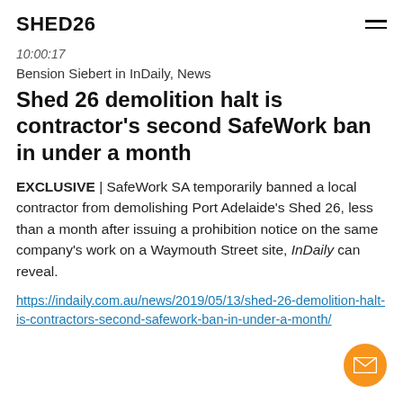SHED26
10:00:17
Bension Siebert in InDaily, News
Shed 26 demolition halt is contractor's second SafeWork ban in under a month
EXCLUSIVE | SafeWork SA temporarily banned a local contractor from demolishing Port Adelaide's Shed 26, less than a month after issuing a prohibition notice on the same company's work on a Waymouth Street site, InDaily can reveal.
https://indaily.com.au/news/2019/05/13/shed-26-demolition-halt-is-contractors-second-safework-ban-in-under-a-month/